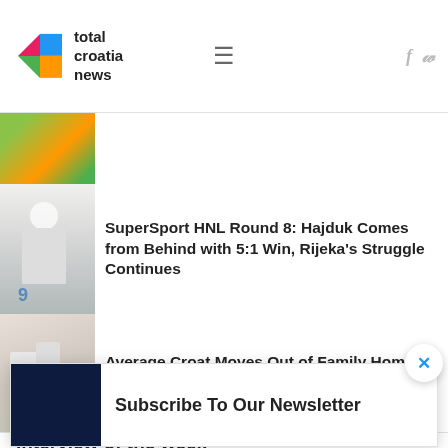total croatia news
[Figure (photo): Partial view of a fruit/food thumbnail image at top]
SuperSport HNL Round 8: Hajduk Comes from Behind with 5:1 Win, Rijeka's Struggle Continues
Average Croat Moves Out of Family Home at 33, Only Portuguese Worse
Interview of the week
[Figure (screenshot): Newsletter subscription popup overlay with dark blue thumbnail and text 'Subscribe To Our Newsletter']
Subscribe To Our Newsletter